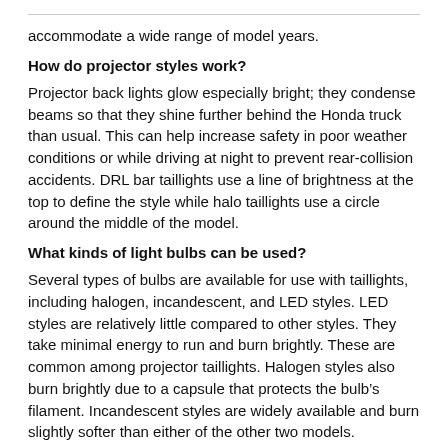accommodate a wide range of model years.
How do projector styles work?
Projector back lights glow especially bright; they condense beams so that they shine further behind the Honda truck than usual. This can help increase safety in poor weather conditions or while driving at night to prevent rear-collision accidents. DRL bar taillights use a line of brightness at the top to define the style while halo taillights use a circle around the middle of the model.
What kinds of light bulbs can be used?
Several types of bulbs are available for use with taillights, including halogen, incandescent, and LED styles. LED styles are relatively little compared to other styles. They take minimal energy to run and burn brightly. These are common among projector taillights. Halogen styles also burn brightly due to a capsule that protects the bulb’s filament. Incandescent styles are widely available and burn slightly softer than either of the other two models.